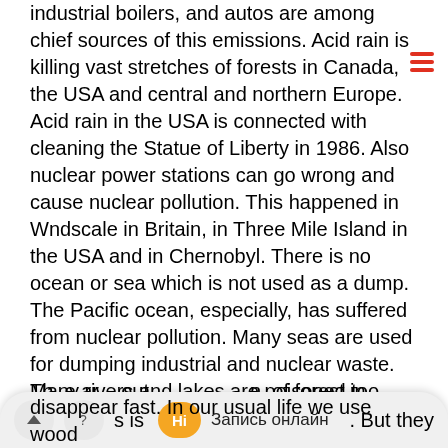industrial boilers, and autos are among chief sources of this emissions. Acid rain is killing vast stretches of forests in Canada, the USA and central and northern Europe. Acid rain in the USA is connected with cleaning the Statue of Liberty in 1986. Also nuclear power stations can go wrong and cause nuclear pollution. This happened in Wndscale in Britain, in Three Mile Island in the USA and in Chernobyl. There is no ocean or sea which is not used as a dump. The Pacific ocean, especially, has suffered from nuclear pollution. Many seas are used for dumping industrial and nuclear waste. Many rivers and lakes are poisoned too. Fish and reptiles can't live in them. There is not enough oxygen in the water. In such places all the birds leave their habitats and many plants die. It is also dangerous for people.
There are about ... of forest in the world. This is ... But they disappear fast. In our usual life we use wood